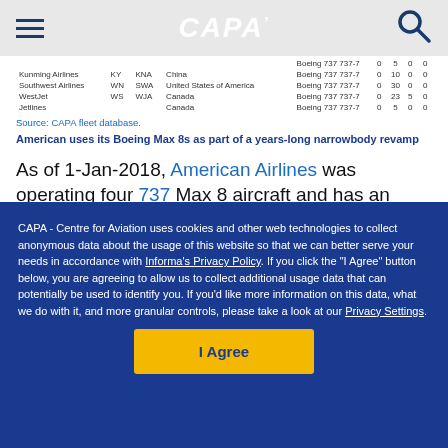CAPA
| Airline | IATA | ICAO | Country | Aircraft type | In service | On order | Stored | Other |
| --- | --- | --- | --- | --- | --- | --- | --- | --- |
|  |  |  |  | Boeing 737 737-7 | 0 | 5 | 0 | 0 |
| Kunming Airlines | KY | KNA | China | Boeing 737 737-7 | 0 | 10 | 0 | 0 |
| Southwest Airlines | WN | SWA | United States of America | Boeing 737 737-7 | 0 | 30 | 0 | 0 |
| WestJet | WS | WJA | Canada | Boeing 737 737-7 | 0 | 23 | 5 | 0 |
| Jetlines |  |  | Canada | Boeing 737 737-7 | 0 | 5 | 0 | 0 |
Source: CAPA fleet database.
American uses its Boeing Max 8s as part of a years-long narrowbody revamp
As of 1-Jan-2018, American Airlines was operating four 737 Max 8 aircraft and has an additional 96 on order. It plans to take delivery of 46 Max 8s in 2018 and 29 more before...
CAPA - Centre for Aviation uses cookies and other web technologies to collect anonymous data about the usage of this website so that we can better serve your needs in accordance with Informa's Privacy Policy. If you click the "I Agree" button below, you are agreeing to allow us to collect additional usage data that can potentially be used to identify you. If you'd like more information on this data, what we do with it, and more granular controls, please take a look at our Privacy Settings.